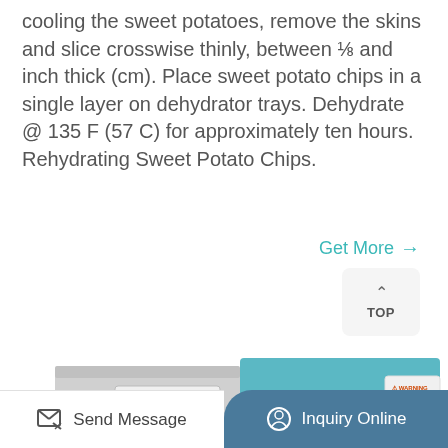cooling the sweet potatoes, remove the skins and slice crosswise thinly, between ⅛ and inch thick (cm). Place sweet potato chips in a single layer on dehydrator trays. Dehydrate @ 135 F (57 C) for approximately ten hours. Rehydrating Sweet Potato Chips.
Get More →
[Figure (screenshot): TOP button with upward caret arrow, rounded rectangle button]
[Figure (photo): Industrial vacuum drying oven machine (DZF-6010) with teal/blue body, pressure gauge, and warning labels]
Send Message
Inquiry Online